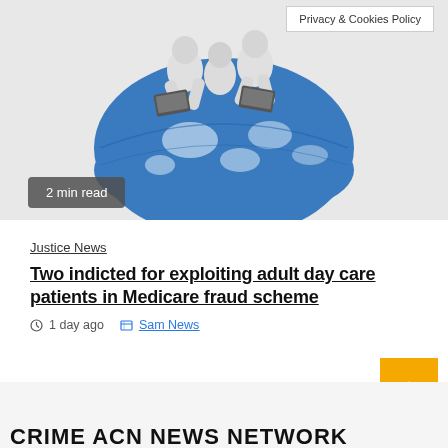[Figure (illustration): 3D illustration of white humanoid figures using laptops while sitting on a blue and white globe, representing internet/cybercrime concept. A 'Privacy & Cookies Policy' tooltip is overlaid in the top right of the image.]
Privacy & Cookies Policy
2 min read
Justice News
Two indicted for exploiting adult day care patients in Medicare fraud scheme
1 day ago   Sam News
CRIME ACN NEWS NETWORK